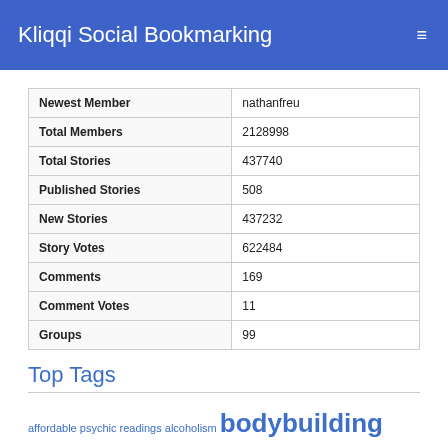Kliqqi Social Bookmarking
|  |  |
| --- | --- |
| Newest Member | nathanfreu |
| Total Members | 2128998 |
| Total Stories | 437740 |
| Published Stories | 508 |
| New Stories | 437232 |
| Story Votes | 622484 |
| Comments | 169 |
| Comment Votes | 11 |
| Groups | 99 |
Top Tags
affordable psychic readings alcoholism bodybuilding cheap jerseys click here esoterismo find out your destiny! food free get accurate answers now! get powerful reading now! good shape health life honest psychic readings judi online need affordable